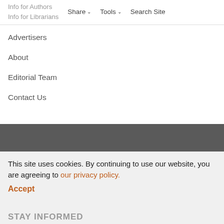Info for Authors | Info for Librarians | Share ∨ | Tools ∨ | Search Site
Advertisers
About
Editorial Team
Contact Us
Online ISSN 1533-8614    Print ISSN 0377-919X
Copyright © 2022
This site uses cookies. By continuing to use our website, you are agreeing to our privacy policy.
Accept
STAY INFORMED